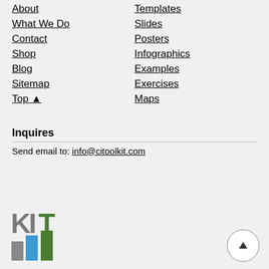About
What We Do
Contact
Shop
Blog
Sitemap
Top ▲
Templates
Slides
Posters
Infographics
Examples
Exercises
Maps
Inquires
Send email to: info@citoolkit.com
[Figure (logo): KIT logo with colored bar chart icon in blue, gray, and green]
[Figure (other): Circular back-to-top button with triangle arrow]